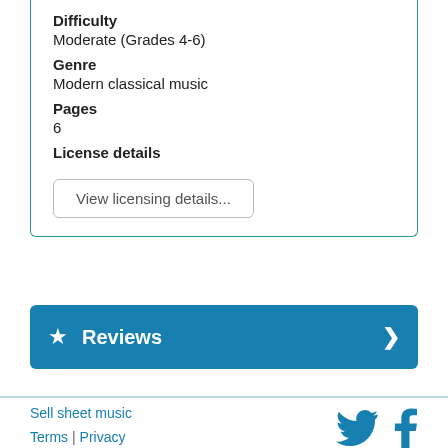Difficulty
Moderate (Grades 4-6)
Genre
Modern classical music
Pages
6
License details
View licensing details...
Reviews
Sell sheet music | Terms | Privacy | Contact | Blog | Advertise | Help